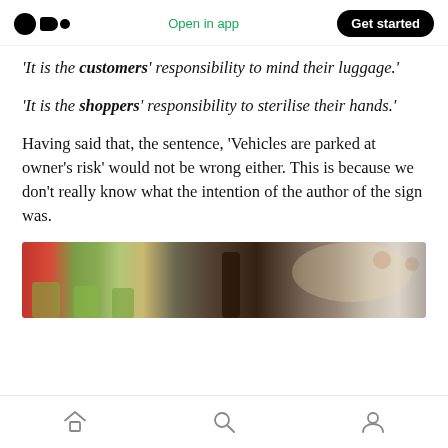Medium logo | Open in app | Get started
'It is the customers' responsibility to mind their luggage.'
'It is the shoppers' responsibility to sterilise their hands.'
Having said that, the sentence, 'Vehicles are parked at owner's risk' would not be wrong either. This is because we don't really know what the intention of the author of the sign was.
[Figure (photo): A photo strip showing an indoor scene with green chairs and people in the background, partially visible at the bottom of the page.]
Navigation bar with home, search, and profile icons